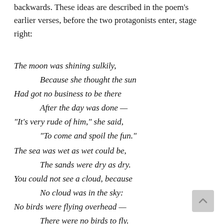backwards. These ideas are described in the poem's earlier verses, before the two protagonists enter, stage right:
The moon was shining sulkily,
    Because she thought the sun
Had got no business to be there
    After the day was done —
"It's very rude of him," she said,
    "To come and spoil the fun."
The sea was wet as wet could be,
    The sands were dry as dry.
You could not see a cloud, because
    No cloud was in the sky:
No birds were flying overhead —
    There were no birds to fly.
The sun and the moon shine at the same time as Carroll states ironically that yes,